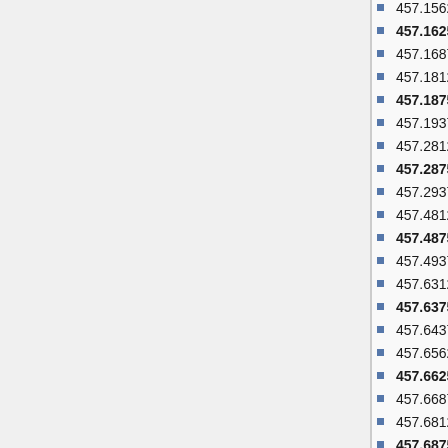457.15625 MHz
457.1625 MHz
457.16875 MHz
457.18125 MHz
457.1875 MHz
457.19375 MHz
457.28125 MHz
457.2875 MHz
457.29375 MHz
457.48125 MHz
457.4875 MHz
457.49375 MHz
457.63125 MHz
457.6375 MHz
457.64375 MHz
457.65625 MHz
457.6625 MHz
457.66875 MHz
457.68125 MHz
457.6875 MHz
457.69375 MHz
457.70625 MHz
457.7125 MHz